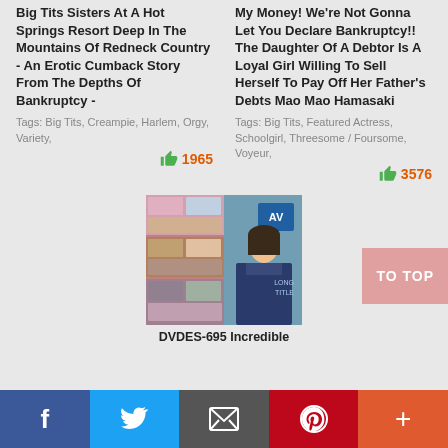Big Tits Sisters At A Hot Springs Resort Deep In The Mountains Of Redneck Country - An Erotic Cumback Story From The Depths Of Bankruptcy -
Tags: Big Tits, Creampie, Harlem, Orgy, Variety,
1965
My Money! We're Not Gonna Let You Declare Bankruptcy!! The Daughter Of A Debtor Is A Loyal Girl Willing To Sell Herself To Pay Off Her Father's Debts Mao Mao Hamasaki
Tags: Big Tits, Featured Actress, Schoolgirl, Threesome / Foursome, Voyeur,
3576
[Figure (photo): DVD cover image for DVDES-695, showing collage of scenes on left and a young woman in school uniform on right]
DVDES-695 Incredible